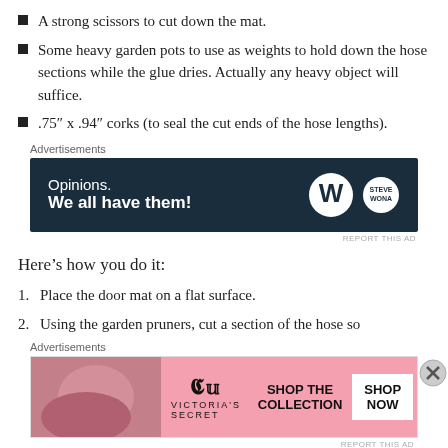A strong scissors to cut down the mat.
Some heavy garden pots to use as weights to hold down the hose sections while the glue dries. Actually any heavy object will suffice.
.75″ x .94″ corks (to seal the cut ends of the hose lengths).
[Figure (screenshot): WordPress advertisement banner: dark navy background with text 'Opinions. We all have them!' and WordPress and Steve Wona logos on the right.]
Here’s how you do it:
Place the door mat on a flat surface.
Using the garden pruners, cut a section of the hose so
[Figure (screenshot): Victoria's Secret advertisement banner: pink background with VS logo, 'SHOP THE COLLECTION' text, and 'SHOP NOW' button.]